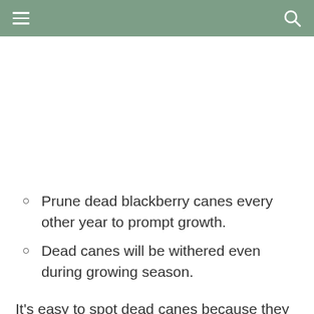Prune dead blackberry canes every other year to prompt growth.
Dead canes will be withered even during growing season.
It's easy to spot dead canes because they remain withered even when other canes have leaves. By clearing away dead canes you make